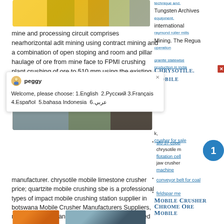[Figure (photo): Yellow industrial crane/mining equipment photo at top]
technique and. Tungsten Archives international Mining. The Regua mine and processing circuit comprises nearhorizontal adit mining using contract mining and a combination of open stoping and room and pillar haulage of ore from mine face to FPMI crushing plant crushing of ore to 510 mm using the existing FPMI crus and processing the are through to
[Figure (photo): Mining crusher/processing equipment photo in middle]
[Figure (screenshot): Chat popup from peggy: Welcome, please choose: 1.English  2.Русский 3.Français  4.Español  5.bahasa Indonesia  6.عربي]
manufacturer. chrysotile mobile limestone crusher price; quartzite mobile crushing sbe is a professional types of impact mobile crushing station supplier in botswana Mobile Crusher Manufacturers Suppliers, mobile crusher manufacturer/supplier, find qualified chinese mobile crusher manufacturers, mobile